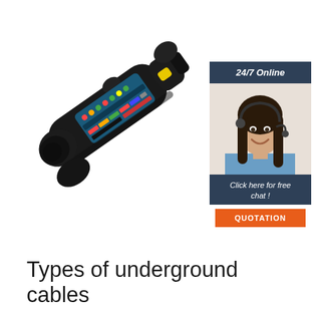[Figure (photo): A black handheld cable/trailer wiring tester device with a blue LED indicator panel showing colored lights and labels, held at an angle on white background]
[Figure (infographic): Advertisement sidebar showing a woman with a headset smiling, with '24/7 Online' header, 'Click here for free chat!' text, and an orange QUOTATION button on dark blue background]
Types of underground cables